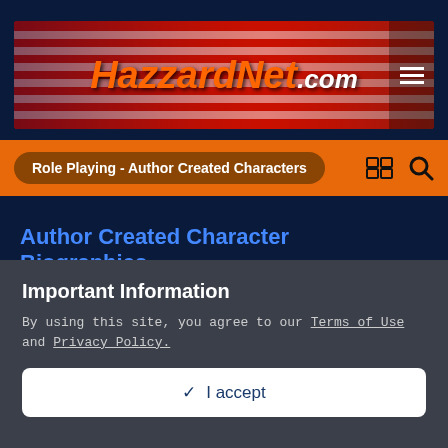[Figure (logo): HazzardNet.com banner logo with orange italic text on red background with cars and American flag stripes]
Role Playing - Author Created Characters
Author Created Character Biographies..
[Figure (other): Five orange star rating icons]
Important Information
By using this site, you agree to our Terms of Use and Privacy Policy.
✓ I accept